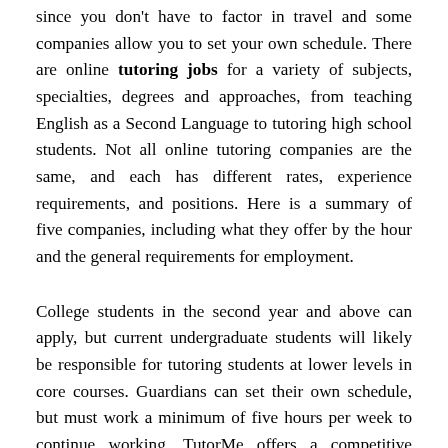since you don't have to factor in travel and some companies allow you to set your own schedule. There are online tutoring jobs for a variety of subjects, specialties, degrees and approaches, from teaching English as a Second Language to tutoring high school students. Not all online tutoring companies are the same, and each has different rates, experience requirements, and positions. Here is a summary of five companies, including what they offer by the hour and the general requirements for employment.
College students in the second year and above can apply, but current undergraduate students will likely be responsible for tutoring students at lower levels in core courses. Guardians can set their own schedule, but must work a minimum of five hours per week to continue working. TutorMe offers a competitive hourly wage and the ability to choose your own schedule. Tutors have a wide range of subjects to choose from, including standard education courses and professional skills such as driver safety and